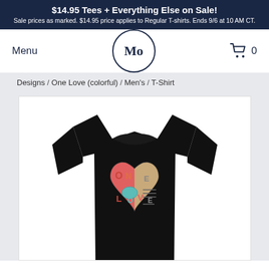$14.95 Tees + Everything Else on Sale! Sale prices as marked. $14.95 price applies to Regular T-shirts. Ends 9/6 at 10 AM CT.
Menu
[Figure (logo): Mo logo in a circle]
[Figure (illustration): Shopping cart icon with 0]
Designs / One Love (colorful) / Men's / T-Shirt
[Figure (photo): Black t-shirt with One Love colorful heart graphic on the chest]